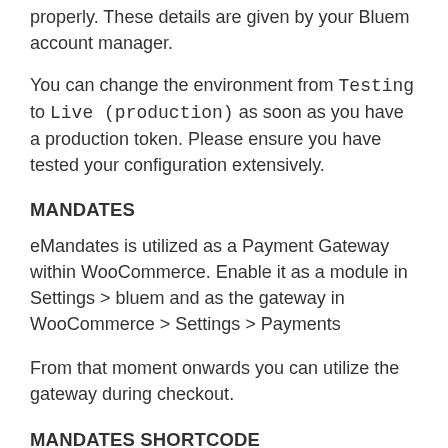properly. These details are given by your Bluem account manager.
You can change the environment from Testing to Live (production) as soon as you have a production token. Please ensure you have tested your configuration extensively.
MANDATES
eMandates is utilized as a Payment Gateway within WooCommerce. Enable it as a module in Settings > bluem and as the gateway in WooCommerce > Settings > Payments
From that moment onwards you can utilize the gateway during checkout.
MANDATES SHORTCODE